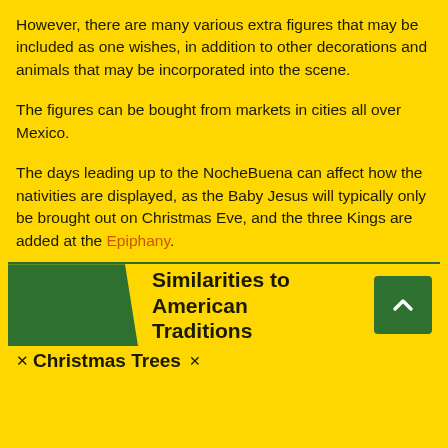However, there are many various extra figures that may be included as one wishes, in addition to other decorations and animals that may be incorporated into the scene.
The figures can be bought from markets in cities all over Mexico.
The days leading up to the NocheBuena can affect how the nativities are displayed, as the Baby Jesus will typically only be brought out on Christmas Eve, and the three Kings are added at the Epiphany.
Similarities to American Traditions
Christmas Trees